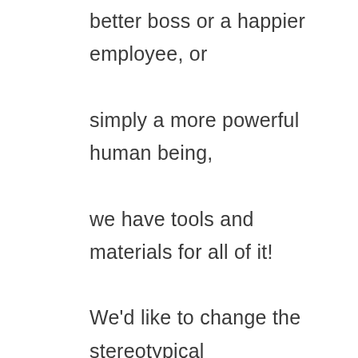better boss or a happier employee, or simply a more powerful human being, we have tools and materials for all of it!

We'd like to change the stereotypical account that working on your relationship is hard and tedious and involves endless processing before you see some light at the end of the tunnel.

We once had a couple who came as a last-ditch effort to our workshop to save a 30-year marriage. They had been